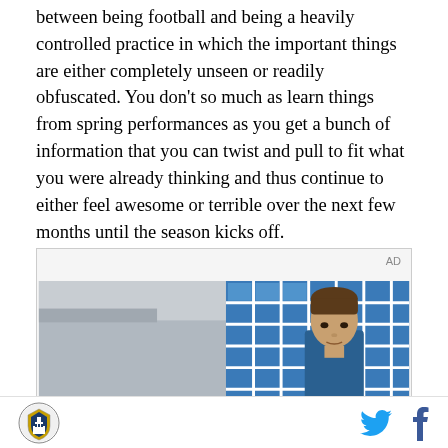between being football and being a heavily controlled practice in which the important things are either completely unseen or readily obfuscated. You don't so much as learn things from spring performances as you get a bunch of information that you can twist and pull to fit what you were already thinking and thus continue to either feel awesome or terrible over the next few months until the season kicks off.
[Figure (photo): Advertisement banner with a young man in a blue outfit standing in front of blue-tinted windows in what appears to be a locker room or sports facility. 'AD' label in upper right corner.]
Site logo | Twitter icon | Facebook icon